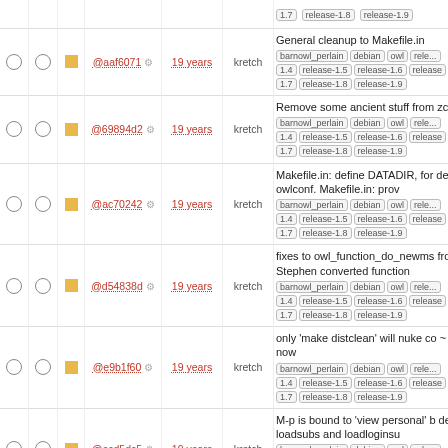|  |  |  | hash | age | author | message |
| --- | --- | --- | --- | --- | --- | --- |
|  |  |  | @aaf6071 | 19 years | kretch | General cleanup to Makefile.in barnowl_perlain debian owl release 1.4 release-1.5 release-1.6 release 1.7 release-1.8 release-1.9 |
|  |  |  | @69894d2 | 19 years | kretch | Remove some ancient stuff from zcrypt.c barnowl_perlain debian owl release 1.4 release-1.5 release-1.6 release 1.7 release-1.8 release-1.9 |
|  |  |  | @ac70242 | 19 years | kretch | Makefile.in: define DATADIR, for default owlconf. Makefile.in: prov barnowl_perlain debian owl release 1.4 release-1.5 release-1.6 release 1.7 release-1.8 release-1.9 |
|  |  |  | @d54838d | 19 years | kretch | fixes to owl_function_do_newms from Stephen converted function barnowl_perlain debian owl release 1.4 release-1.5 release-1.6 release 1.7 release-1.8 release-1.9 |
|  |  |  | @e9b1f60 | 19 years | kretch | only 'make distclean' will nuke co ~ files now barnowl_perlain debian owl release 1.4 release-1.5 release-1.6 release 1.7 release-1.8 release-1.9 |
|  |  |  | @ecd5dc5 | 19 years | kretch | M-p is bound to 'view personal' b default loadsubs and loadloginsu barnowl_perlain debian owl release 1.4 release-1.5 release-1.6 release 1.7 release-1.8 release-1.9 |
|  |  |  | @826234e | 20 years | kretch | Added ZResetAuthentication in a number of places to fix problems barnowl_perlain debian o |